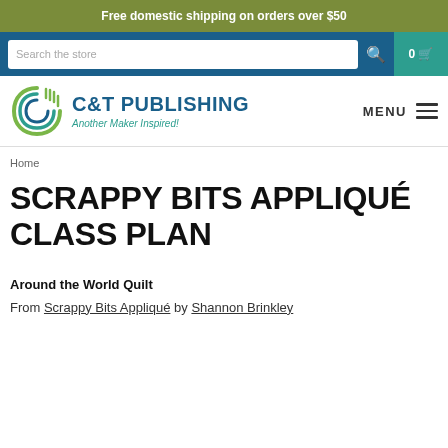Free domestic shipping on orders over $50
Search the store
[Figure (logo): C&T Publishing logo with spiral C&T mark and tagline 'Another Maker Inspired!']
MENU
Home
SCRAPPY BITS APPLIQUÉ CLASS PLAN
Around the World Quilt
From Scrappy Bits Appliqué by Shannon Brinkley